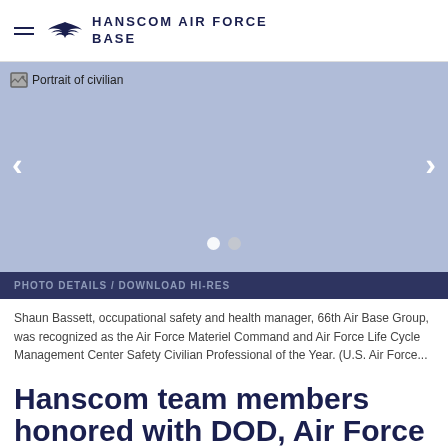HANSCOM AIR FORCE BASE
[Figure (photo): Portrait of civilian - slideshow with navigation arrows and dot indicators, shown with a blue-gray placeholder background. Navigation arrows on left and right sides. Two pagination dots at bottom center.]
PHOTO DETAILS / DOWNLOAD HI-RES
Shaun Bassett, occupational safety and health manager, 66th Air Base Group, was recognized as the Air Force Materiel Command and Air Force Life Cycle Management Center Safety Civilian Professional of the Year. (U.S. Air Force...
Hanscom team members honored with DOD, Air Force